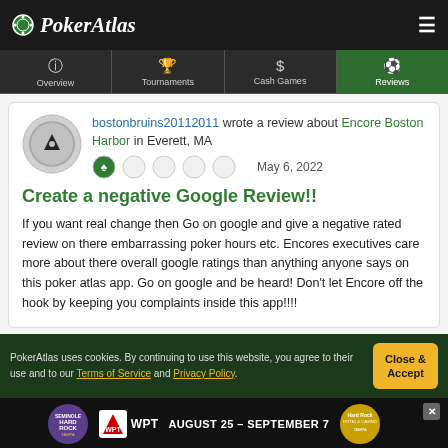PokerAtlas
[Figure (screenshot): Navigation tabs: Overview, Tournaments, Cash Games, Reviews (active/highlighted in green)]
bostonbruins20112011 wrote a review about Encore Boston Harbor in Everett, MA — May 6, 2022 — 1 star out of 5
Create a negative Google Review!!
If you want real change then Go on google and give a negative rated review on there embarrassing poker hours etc. Encores executives care more about there overall google ratings than anything anyone says on this poker atlas app. Go on google and be heard! Don't let Encore off the hook by keeping you complaints inside this app!!!!
PokerAtlas uses cookies. By continuing to use this website, you agree to their use and to our Terms of Service and Privacy Policy.
[Figure (infographic): Advertisement banner: Seminole Hard Rock Tampa, WPT, Hard Rock Hotel & Casino — August 25 - September 7]